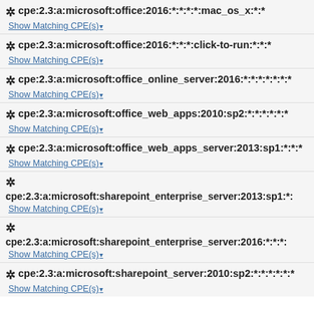cpe:2.3:a:microsoft:office:2016:*:*:*:*:mac_os_x:*:*
Show Matching CPE(s)
cpe:2.3:a:microsoft:office:2016:*:*:*:click-to-run:*:*:*
Show Matching CPE(s)
cpe:2.3:a:microsoft:office_online_server:2016:*:*:*:*:*:*:*
Show Matching CPE(s)
cpe:2.3:a:microsoft:office_web_apps:2010:sp2:*:*:*:*:*:*
Show Matching CPE(s)
cpe:2.3:a:microsoft:office_web_apps_server:2013:sp1:*:*:*
Show Matching CPE(s)
cpe:2.3:a:microsoft:sharepoint_enterprise_server:2013:sp1:*:
Show Matching CPE(s)
cpe:2.3:a:microsoft:sharepoint_enterprise_server:2016:*:*:*
Show Matching CPE(s)
cpe:2.3:a:microsoft:sharepoint_server:2010:sp2:*:*:*:*:*:*
Show Matching CPE(s)